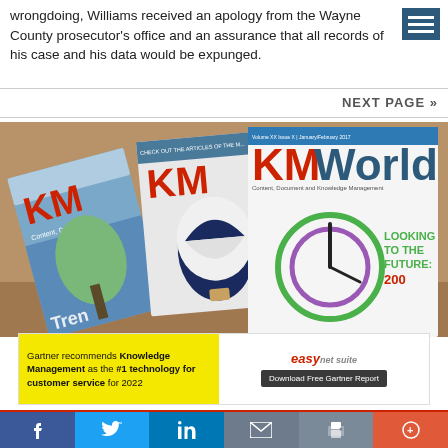wrongdoing, Williams received an apology from the Wayne County prosecutor's office and an assurance that all records of his case and his data would be expunged.
NEXT PAGE »
[Figure (photo): Three KMWorld magazine covers fanned out on a wooden surface. The front cover features 'KMWorld - Content, Document and Knowledge Management' with a clock graphic and text 'LOOKING TO THE FUTURE: 200...']
[Figure (infographic): Advertisement banner: 'Gartner recommends Knowledge Management as the #1 technology for customer service for 2022' with EasyVista logo and 'Download Free Gartner Report' button]
f  Twitter  in  email  print  +